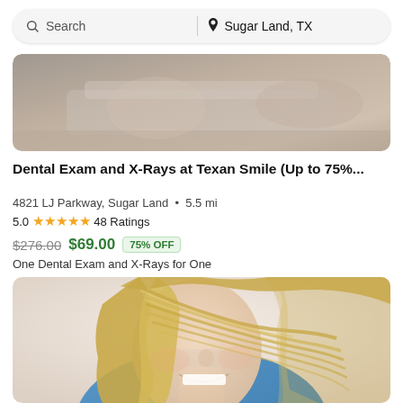Search | Sugar Land, TX
[Figure (photo): Top portion of a dental office or person photo, cropped]
Dental Exam and X-Rays at Texan Smile (Up to 75%...
4821 LJ Parkway, Sugar Land • 5.5 mi
5.0 ★★★★★ 48 Ratings
$276.00 $69.00 75% OFF
One Dental Exam and X-Rays for One
[Figure (photo): Smiling person with blonde hair blowing across face, wearing blue top]